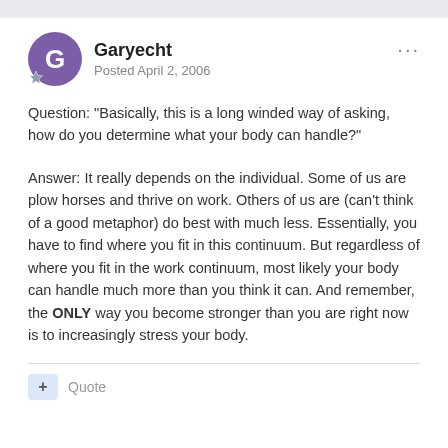Garyecht
Posted April 2, 2006
Question: “Basically, this is a long winded way of asking, how do you determine what your body can handle?”
Answer: It really depends on the individual. Some of us are plow horses and thrive on work. Others of us are (can’t think of a good metaphor) do best with much less. Essentially, you have to find where you fit in this continuum. But regardless of where you fit in the work continuum, most likely your body can handle much more than you think it can. And remember, the ONLY way you become stronger than you are right now is to increasingly stress your body.